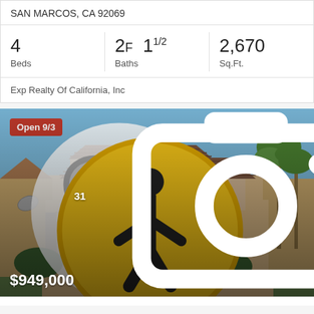SAN MARCOS, CA 92069
| Beds | Baths | Sq.Ft. |
| --- | --- | --- |
| 4 | 2F 1½ | 2,670 |
Exp Realty Of California, Inc
[Figure (photo): Two-story stucco house with two-car garage, tiled roof, palm trees, and green lawn in San Marcos, CA. Open house badge says 'Open 9/3'. Listed at $949,000 with 31 photos.]